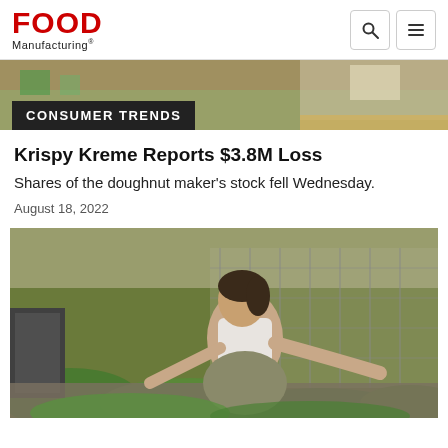FOOD Manufacturing
[Figure (photo): Partial top image showing outdoor scene with stone wall and building in background]
CONSUMER TRENDS
Krispy Kreme Reports $3.8M Loss
Shares of the doughnut maker's stock fell Wednesday.
August 18, 2022
[Figure (photo): A woman sitting outdoors in a garden, tending to plants near a chain-link fence]